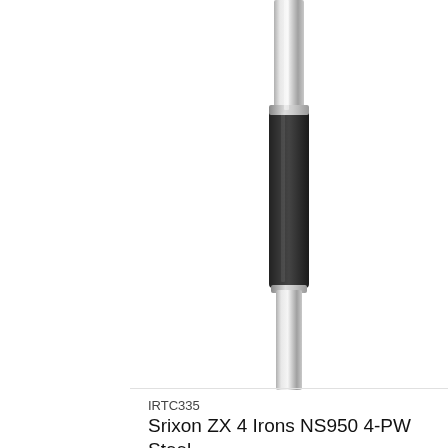[Figure (photo): Close-up photo of a golf club shaft — silver/chrome metal with a black rubber grip section, shown partially cropped at top of product card.]
IRTC335
Srixon ZX 4 Irons NS950 4-PW Steel
$1,403.00
$1,609.00
BUY NOW